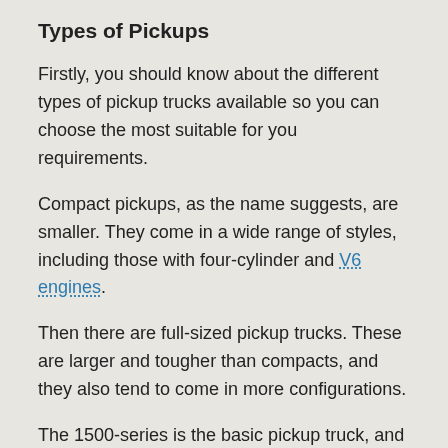Types of Pickups
Firstly, you should know about the different types of pickup trucks available so you can choose the most suitable for you requirements.
Compact pickups, as the name suggests, are smaller. They come in a wide range of styles, including those with four-cylinder and V6 engines.
Then there are full-sized pickup trucks. These are larger and tougher than compacts, and they also tend to come in more configurations.
The 1500-series is the basic pickup truck, and this is often used for family cars as well. However, you may require a larger model, like a heavy duty 2500 model or even a 3500 model like the RAM 3500. These are